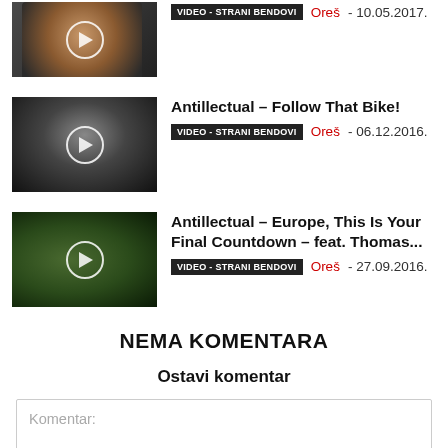[Figure (photo): Video thumbnail with person in green shirt, play button overlay]
VIDEO - STRANI BENDOVI  Oreš - 10.05.2017.
[Figure (photo): Video thumbnail with black and white person singing into microphone, play button overlay]
Antillectual – Follow That Bike!
VIDEO - STRANI BENDOVI  Oreš - 06.12.2016.
[Figure (photo): Video thumbnail with outdoor forest scene, play button overlay]
Antillectual – Europe, This Is Your Final Countdown – feat. Thomas...
VIDEO - STRANI BENDOVI  Oreš - 27.09.2016.
NEMA KOMENTARA
Ostavi komentar
Komentar: